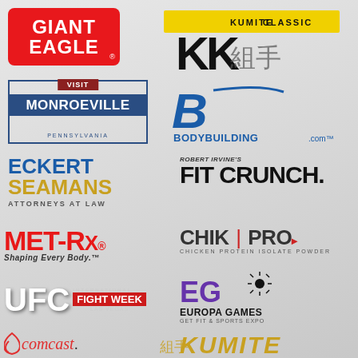[Figure (logo): Giant Eagle logo - red rounded rectangle with white text]
[Figure (logo): Kumite Classic logo - black KK letters with yellow banner and Asian characters]
[Figure (logo): Visit Monroeville Pennsylvania logo - navy blue badge with red Visit tab]
[Figure (logo): Bodybuilding.com logo - blue B letter with Bodybuilding.com text]
[Figure (logo): Eckert Seamans Attorneys at Law logo - blue and gold text]
[Figure (logo): Robert Irvine's FIT CRUNCH logo - black bold text]
[Figure (logo): MET-Rx Shaping Every Body logo - red bold text]
[Figure (logo): CHiK PRO Chicken Protein Isolate Powder logo]
[Figure (logo): UFC International Fight Week Las Vegas logo - white UFC letters with red Fight Week banner]
[Figure (logo): Europa Games Get Fit and Sports Expo logo - purple EG letters]
[Figure (logo): Comcast logo - red italic text with dot]
[Figure (logo): Kumite logo - gold italic text with Asian characters]